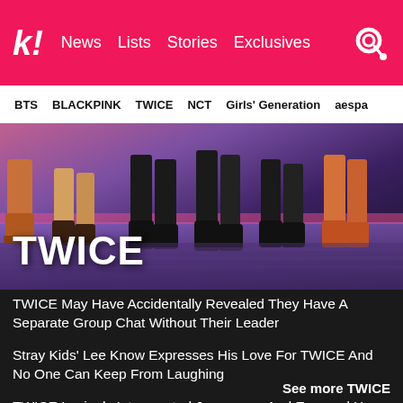k! News  Lists  Stories  Exclusives
BTS  BLACKPINK  TWICE  NCT  Girls' Generation  aespa
[Figure (photo): Hero banner showing legs/boots of TWICE members with 'TWICE' title overlay on purple/dark background]
TWICE
TWICE May Have Accidentally Revealed They Have A Separate Group Chat Without Their Leader
Stray Kids' Lee Know Expresses His Love For TWICE And No One Can Keep From Laughing
TWICE Lovingly Interrogated Jeongyeon And Exposed Her Soft Side
Somi Proves She's TWICE's Secret 10th Member In Her Latest TikTok Video
See more TWICE